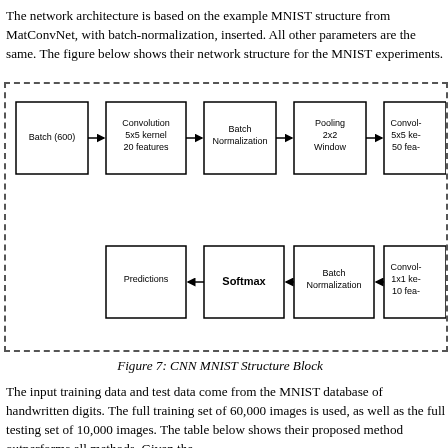The network architecture is based on the example MNIST structure from MatConvNet, with batch-normalization, inserted. All other parameters are the same. The figure below shows their network structure for the MNIST experiments.
[Figure (flowchart): CNN MNIST network architecture block diagram showing: Batch (600) -> Convolution 5x5 kernel 20 features -> Batch Normalization -> Pooling 2x2 Window -> Convolution 5x5 kernel 50 features (top row); bottom row (right to left): Convolution 1x1 kernel 10 features -> Batch Normalization -> Softmax -> Predictions]
Figure 7: CNN MNIST Structure Block
The input training data and test data come from the MNIST database of handwritten digits. The full training set of 60,000 images is used, as well as the full testing set of 10,000 images. The table below shows their proposed method outperforms all methods. Given the